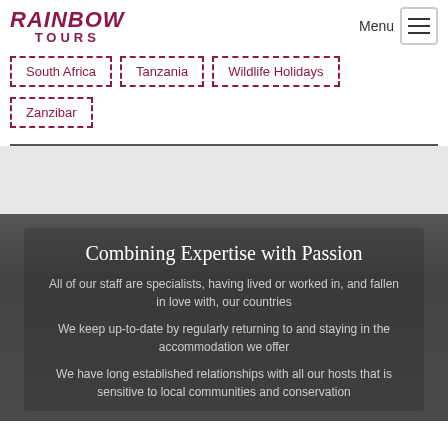RAINBOW TOURS
South Africa
Tanzania
Wildlife Holidays
Zanzibar
Combining Expertise with Passion
All of our staff are specialists, having lived or worked in, and fallen in love with, our countries
We keep up-to-date by regularly returning to and staying in the accommodation we offer
We have long established relationships with all our hosts that is sensitive to local communities and conservation